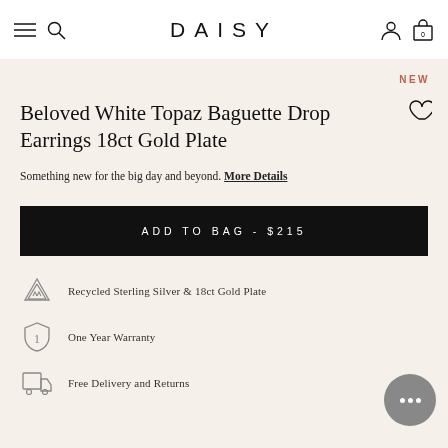DAISY
NEW
Beloved White Topaz Baguette Drop Earrings 18ct Gold Plate
Something new for the big day and beyond. More Details
ADD TO BAG - $215
Recycled Sterling Silver & 18ct Gold Plate
One Year Warranty
Free Delivery and Returns